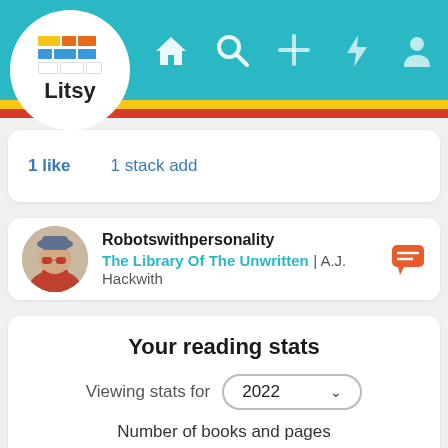[Figure (screenshot): Litsy app navigation bar with teal background, Litsy logo (stacked books icon + 'Litsy' text) in white circle, and nav icons: home, search, plus, lightning bolt, person]
1 like   1 stack add
Robotswithpersonality
The Library Of The Unwritten | A.J. Hackwith
Your reading stats
Viewing stats for 2022
Number of books and pages
236 books, 54,830 pages
Genres